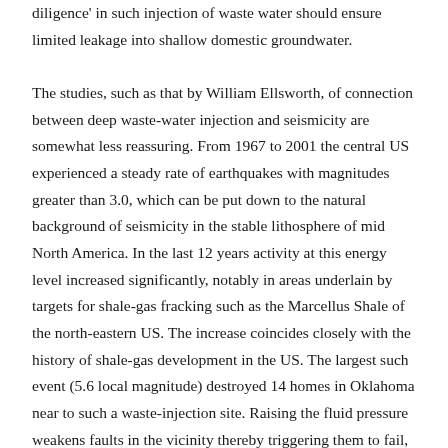diligence' in such injection of waste water should ensure limited leakage into shallow domestic groundwater.

The studies, such as that by William Ellsworth, of connection between deep waste-water injection and seismicity are somewhat less reassuring. From 1967 to 2001 the central US experienced a steady rate of earthquakes with magnitudes greater than 3.0, which can be put down to the natural background of seismicity in the stable lithosphere of mid North America. In the last 12 years activity at this energy level increased significantly, notably in areas underlain by targets for shale-gas fracking such as the Marcellus Shale of the north-eastern US. The increase coincides closely with the history of shale-gas development in the US. The largest such event (5.6 local magnitude) destroyed 14 homes in Oklahoma near to such a waste-injection site. Raising the fluid pressure weakens faults in the vicinity thereby triggering them to fail, even if their tectonic activity ceased millions of years ago: many retain large elastic strains dependent on rock strength.